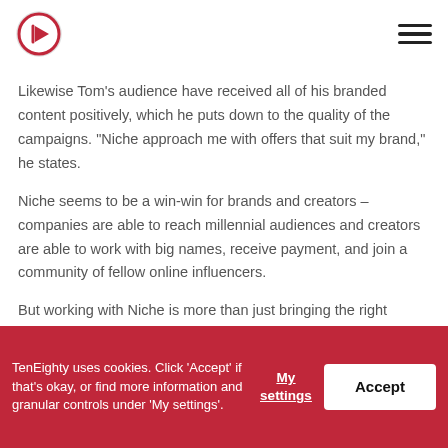TenEighty logo and navigation
Likewise Tom's audience have received all of his branded content positively, which he puts down to the quality of the campaigns. “Niche approach me with offers that suit my brand,” he states.
Niche seems to be a win-win for brands and creators – companies are able to reach millennial audiences and creators are able to work with big names, receive payment, and join a community of fellow online influencers.
But working with Niche is more than just bringing the right people together. Niche also offer help with other elements such as creative planning, briefing
TenEighty uses cookies. Click ‘Accept’ if that’s okay, or find more information and granular controls under ‘My settings’. My settings Accept